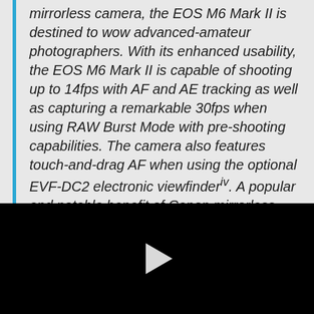mirrorless camera, the EOS M6 Mark II is destined to wow advanced-amateur photographers. With its enhanced usability, the EOS M6 Mark II is capable of shooting up to 14fps with AF and AE tracking as well as capturing a remarkable 30fps when using RAW Burst Mode with pre-shooting capabilities. The camera also features touch-and-drag AF when using the optional EVF-DC2 electronic viewfinder^iv. A popular and notable benefit of Canon mirrorless cameras allows photographers to select AF positions with the touch of a finger. The
[Figure (other): Black video player area with a white play button triangle in the center]